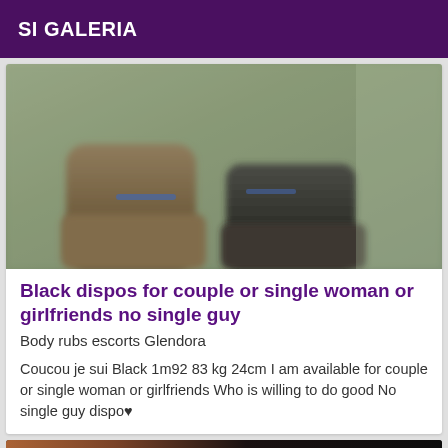SI GALERIA
[Figure (photo): Blurry close-up photo of two people's feet/shoes on a floor]
Black dispos for couple or single woman or girlfriends no single guy
Body rubs escorts Glendora
Coucou je sui Black 1m92 83 kg 24cm I am available for couple or single woman or girlfriends Who is willing to do good No single guy dispo♥
[Figure (photo): Blurry dark photo with orange/brown tones, Online badge visible]